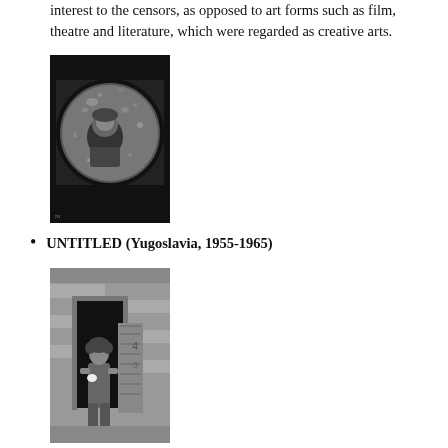interest to the censors, as opposed to art forms such as film, theatre and literature, which were regarded as creative arts.
[Figure (photo): Black and white photograph of a person reflected in a large glass sphere or lens, looking upward with a camera or object nearby]
UNTITLED (Yugoslavia, 1955-1965)
[Figure (photo): Black and white photograph of a young girl or woman standing in a doorway of a stone building, holding something white, with the number 4 visible on a board to the right]